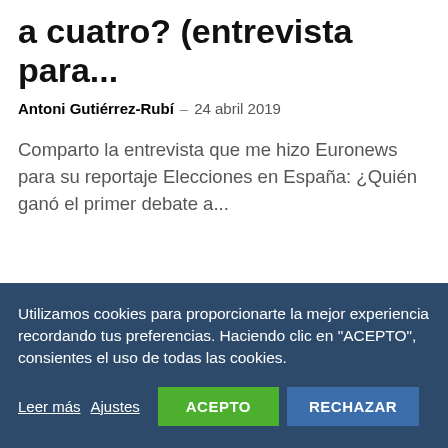a cuatro? (entrevista para...
Antoni Gutiérrez-Rubí – 24 abril 2019
Comparto la entrevista que me hizo Euronews para su reportaje Elecciones en España: ¿Quién ganó el primer debate a...
Utilizamos cookies para proporcionarte la mejor experiencia recordando tus preferencias. Haciendo clic en "ACEPTO", consientes el uso de todas las cookies.
Leer más  Ajustes  ACEPTO  RECHAZAR